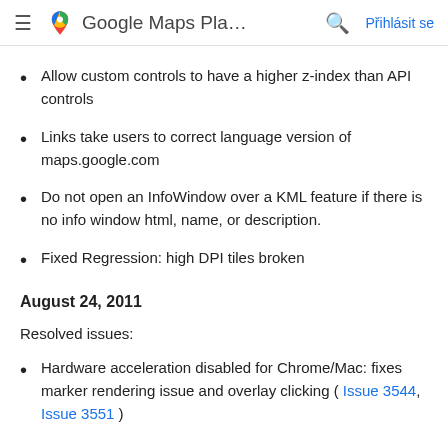≡  Google Maps Pla...  🔍  Přihlásit se
Allow custom controls to have a higher z-index than API controls
Links take users to correct language version of maps.google.com
Do not open an InfoWindow over a KML feature if there is no info window html, name, or description.
Fixed Regression: high DPI tiles broken
August 24, 2011
Resolved issues:
Hardware acceleration disabled for Chrome/Mac: fixes marker rendering issue and overlay clicking ( Issue 3544, Issue 3551 )